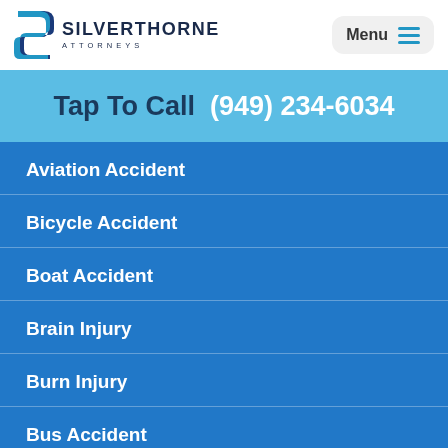[Figure (logo): Silverthorne Attorneys logo with blue S shape and text]
Tap To Call  (949) 234-6034
Aviation Accident
Bicycle Accident
Boat Accident
Brain Injury
Burn Injury
Bus Accident